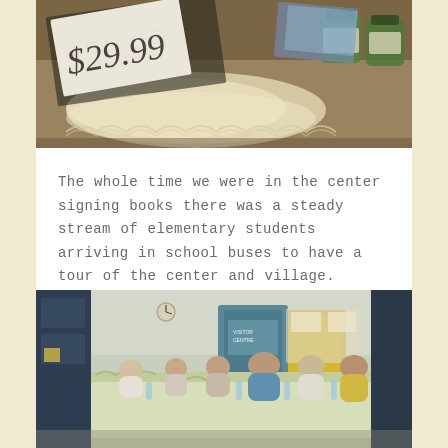[Figure (photo): Close-up photo of items on a table showing a price tag reading $29.99, lace doilies, and jars of what appear to be preserves or crafts items]
The whole time we were in the center signing books there was a steady stream of elementary students arriving in school buses to have a tour of the center and village.
[Figure (photo): Photo of six women seated at a long table covered with a green and white patterned tablecloth in what appears to be a community center or school room. Blue panels and yellow-framed door visible in background.]